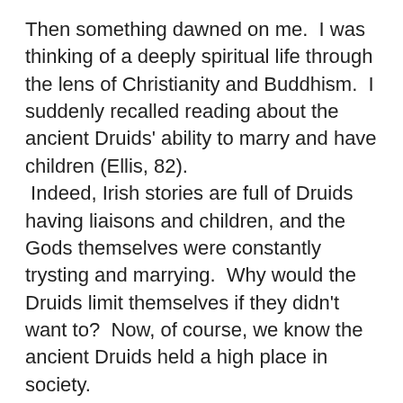Then something dawned on me.  I was thinking of a deeply spiritual life through the lens of Christianity and Buddhism.  I suddenly recalled reading about the ancient Druids' ability to marry and have children (Ellis, 82).  Indeed, Irish stories are full of Druids having liaisons and children, and the Gods themselves were constantly trysting and marrying.  Why would the Druids limit themselves if they didn't want to?  Now, of course, we know the ancient Druids held a high place in society.  Fosterage was probably a common practice among them just as it was with other high ranking families.  There's evidence that Medieval Irish children were given to foster parents around the age of seven (Bitel, 86).  Did this practice exist among the ancient Druids?  If it did, seven year olds are far more independent than infants.  If a female Druid had a baby, did she take a break?  Were her